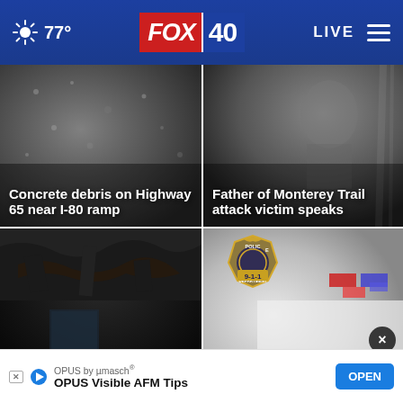FOX 40 | 77° | LIVE
[Figure (screenshot): News thumbnail: Concrete debris on highway surface]
Concrete debris on Highway 65 near I-80 ramp
[Figure (screenshot): News thumbnail: Close-up of person's face, outdoor lighting]
Father of Monterey Trail attack victim speaks
[Figure (screenshot): News thumbnail: Fire-damaged interior, charred ceiling]
Randolph fire displaces
[Figure (screenshot): News thumbnail: Police department badge and patrol car with lights]
minor weapons
OPUS by µmasch® | OPUS Visible AFM Tips | OPEN